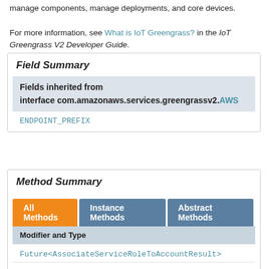manage components, manage deployments, and core devices.
For more information, see What is IoT Greengrass? in the IoT Greengrass V2 Developer Guide.
Field Summary
| Fields inherited from interface com.amazonaws.services.greengrassv2.AWS... |
| --- |
| ENDPOINT_PREFIX |
Method Summary
| All Methods | Instance Methods | Abstract Methods |
| --- | --- | --- |
| Modifier and Type |
| Future<AssociateServiceRoleToAccountResult> |
Future<AssociateServiceRoleToAccountResult>